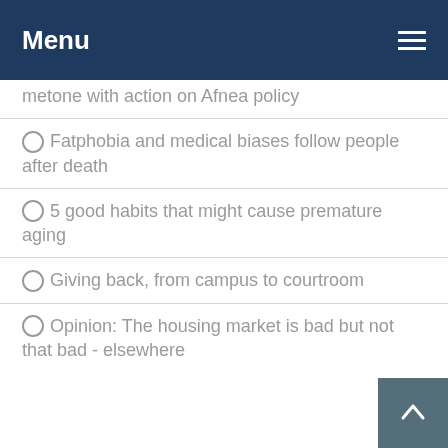Menu
metone with action on Afnea policy
Fatphobia and medical biases follow people after death
5 good habits that might cause premature aging
Giving back, from campus to courtroom
Opinion: The housing market is bad but not that bad - elsewhere